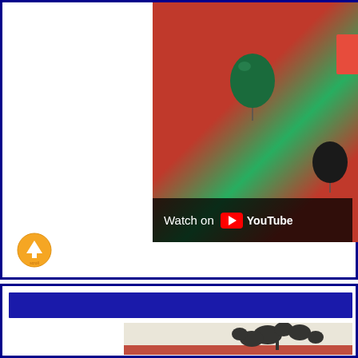[Figure (screenshot): YouTube embedded video showing a Palestinian flag scene with green and dark balloons, with a 'Watch on YouTube' overlay button and a red element in corner]
[Figure (illustration): Small circular yellow icon with an upward arrow (scroll-to-top button)]
[Figure (screenshot): Website section with a blue header bar and a black and white image showing silhouetted plant/dove imagery against a red and white background]